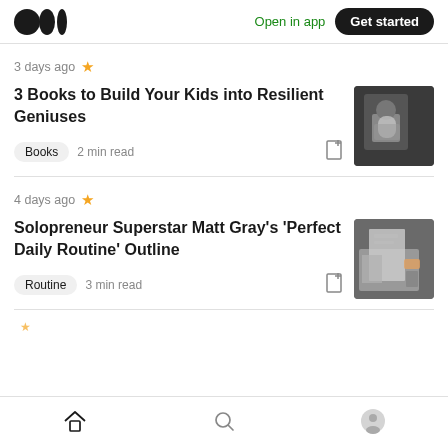Medium logo | Open in app | Get started
3 days ago ★
3 Books to Build Your Kids into Resilient Geniuses
Books  2 min read
[Figure (photo): Thumbnail image of a child with a paper bag over head reading a book]
4 days ago ★
Solopreneur Superstar Matt Gray's 'Perfect Daily Routine' Outline
Routine  3 min read
[Figure (photo): Thumbnail image of a desk with books and items]
Home | Search | Profile